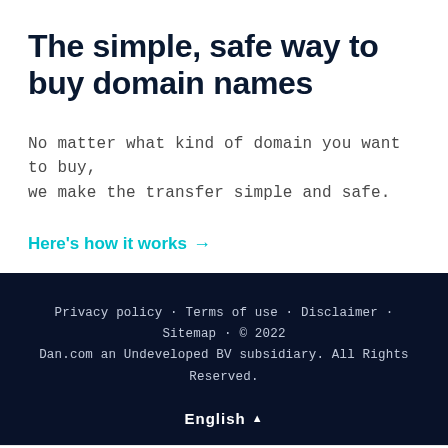The simple, safe way to buy domain names
No matter what kind of domain you want to buy, we make the transfer simple and safe.
Here's how it works →
Privacy policy · Terms of use · Disclaimer · Sitemap · © 2022 Dan.com an Undeveloped BV subsidiary. All Rights Reserved.
English ▲
€1,500 /now
Buy